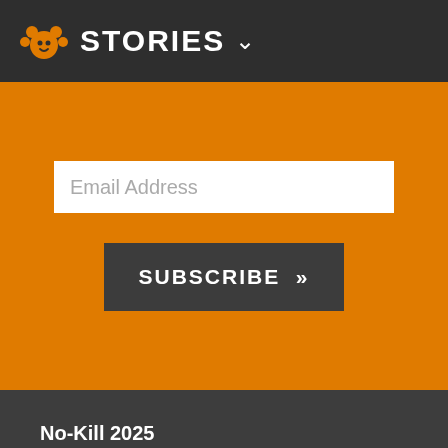STORIES
Email Address
SUBSCRIBE »
No-Kill 2025
The Sanctuary
Act for Animals
Stories
Adopt + Foster
Ways to Give
Who We Are
Pet Care